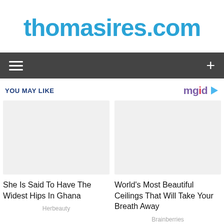thomasires.com
[Figure (screenshot): Navigation bar with hamburger menu icon on left and plus icon on right, dark gray background]
YOU MAY LIKE
[Figure (logo): mgid logo with play button icon]
[Figure (photo): Blank/white image placeholder for article about She Is Said To Have The Widest Hips In Ghana]
[Figure (photo): Blank/white image placeholder for article about World's Most Beautiful Ceilings That Will Take Your Breath Away]
She Is Said To Have The Widest Hips In Ghana
Herbeauty
World's Most Beautiful Ceilings That Will Take Your Breath Away
Brainberries